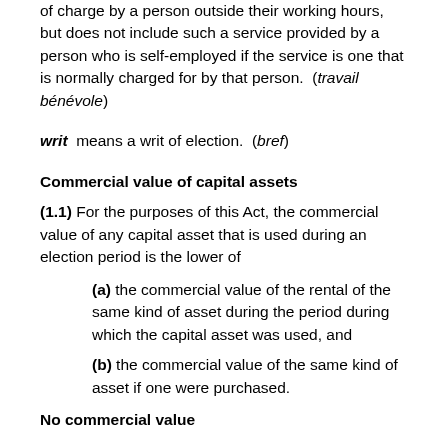of charge by a person outside their working hours, but does not include such a service provided by a person who is self-employed if the service is one that is normally charged for by that person.  (travail bénévole)
writ  means a writ of election.  (bref)
Commercial value of capital assets
(1.1) For the purposes of this Act, the commercial value of any capital asset that is used during an election period is the lower of
(a) the commercial value of the rental of the same kind of asset during the period during which the capital asset was used, and
(b) the commercial value of the same kind of asset if one were purchased.
No commercial value